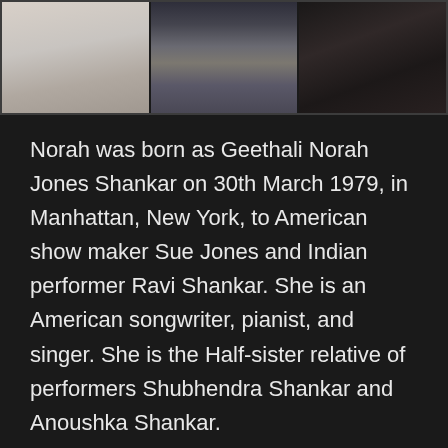[Figure (photo): A strip of three photographs showing a person (Norah Jones) in different poses and settings.]
Norah was born as Geethali Norah Jones Shankar on 30th March 1979, in Manhattan, New York, to American show maker Sue Jones and Indian performer Ravi Shankar. She is an American songwriter, pianist, and singer. She is the Half-sister relative of performers Shubhendra Shankar and Anoushka Shankar.
She has won numerous honors and has sold more than 50 million records around the world. Board named her the top jazz craftsman of the 2000s decade. She has won nine Grammy Awards and